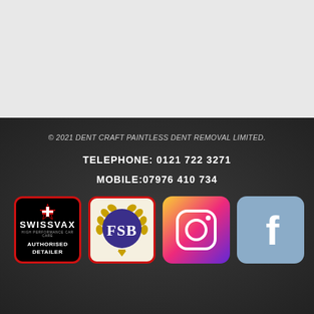[Figure (other): Light grey top section background area]
© 2021 DENT CRAFT PAINTLESS DENT REMOVAL LIMITED.
TELEPHONE: 0121 722 3271
MOBILE:07976 410 734
[Figure (logo): Swissvax Authorised Detailer logo - black background with red border, Swiss cross, brand name and text AUTHORISED DETAILER]
[Figure (logo): FSB (Federation of Small Businesses) logo - gold laurel wreath around purple circle with FSB letters]
[Figure (logo): Instagram logo icon - gradient pink/purple rounded square with camera outline]
[Figure (logo): Facebook logo icon - blue/grey rounded square with white f letter]